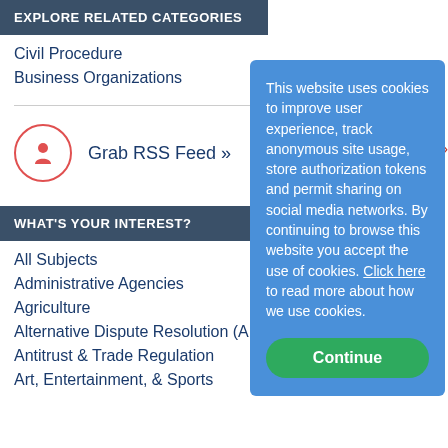EXPLORE RELATED CATEGORIES
Civil Procedure
Business Organizations
Grab RSS Feed »
WHAT'S YOUR INTEREST?
All Subjects
Administrative Agencies
Agriculture
Alternative Dispute Resolution (A
Antitrust & Trade Regulation
Art, Entertainment, & Sports
This website uses cookies to improve user experience, track anonymous site usage, store authorization tokens and permit sharing on social media networks. By continuing to browse this website you accept the use of cookies. Click here to read more about how we use cookies.
Continue